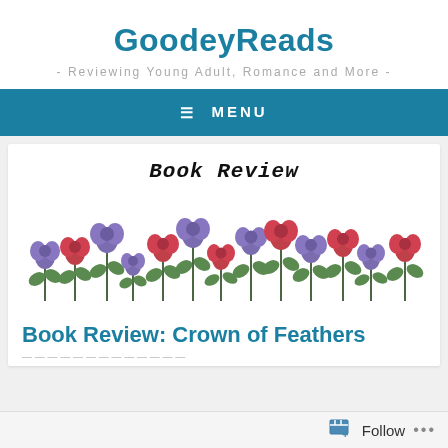GoodeyReads
- Reviewing Young Adult, Romance and More -
≡ MENU
[Figure (illustration): Book Review banner with handwritten-style text and a row of colorful illustrated flowers (purple and red blooms with green stems and leaves)]
Book Review: Crown of Feathers
Follow ...